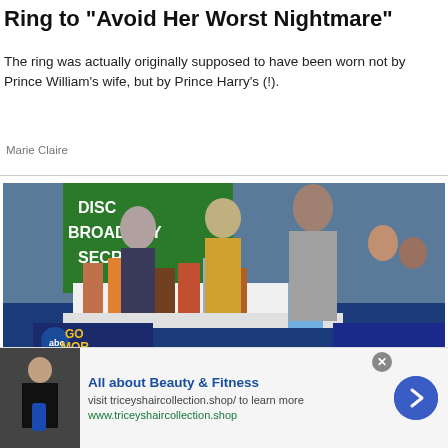Ring to "Avoid Her Worst Nightmare"
The ring was actually originally supposed to have been worn not by Prince William's wife, but by Prince Harry's (!).
Marie Claire
[Figure (photo): TV show screenshot from Good Morning America (GMA) on ABC. People on a set with products on a table. Lower banner reads 'ONLY ON GMA' and 'TURN BACK THE CLOCK'. Dr. Kellyann branding visible on table.]
[Figure (screenshot): Advertisement banner: 'All about Beauty & Fitness' with link to triceyhaircollection.shop. Shows a thumbnail image of a person holding a bottle. Has a blue arrow button and close X button.]